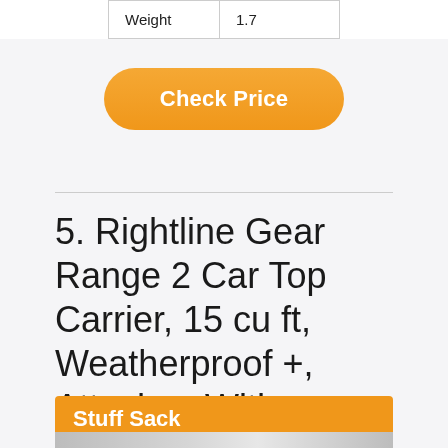| Weight | 1.7 |
Check Price
5. Rightline Gear Range 2 Car Top Carrier, 15 cu ft, Weatherproof +, Attaches With or Without Roof Rack
Stuff Sack
[Figure (photo): Product image of Rightline Gear Range 2 Car Top Carrier]